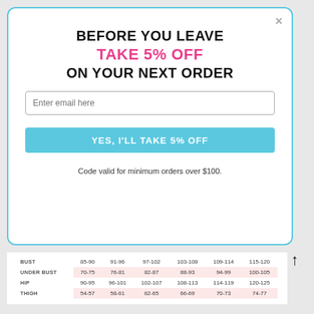BEFORE YOU LEAVE
TAKE 5% OFF
ON YOUR NEXT ORDER
Enter email here
YES, I'LL TAKE 5% OFF
Code valid for minimum orders over $100.
|  | 85-90 | 91-96 | 97-102 | 103-108 | 109-114 | 115-120 |
| --- | --- | --- | --- | --- | --- | --- |
| BUST | 85-90 | 91-96 | 97-102 | 103-108 | 109-114 | 115-120 |
| UNDER BUST | 70-75 | 76-81 | 82-87 | 88-93 | 94-99 | 100-105 |
| HIP | 90-95 | 96-101 | 102-107 | 108-113 | 114-119 | 120-125 |
| THIGH | 54-57 | 58-61 | 62-65 | 66-69 | 70-73 | 74-77 |